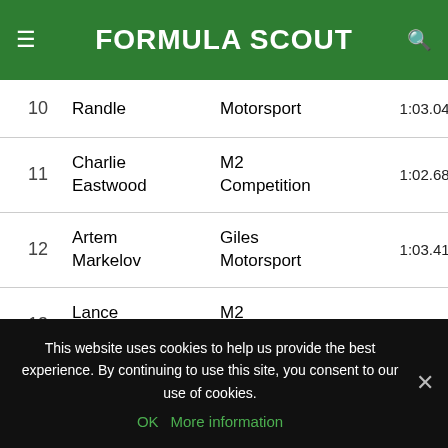FORMULA SCOUT
| Pos | Driver | Team | Time1 | Time2 | Time3 |
| --- | --- | --- | --- | --- | --- |
| 10 | Randle | Motorsport | 1:03.049 | 1:02.550 | 1:0… |
| 11 | Charlie Eastwood | M2 Competition | 1:02.683 | 1:02.585 | 1:0… |
| 12 | Artem Markelov | Giles Motorsport | 1:03.418 | 1:03.123 | 1:… |
| 13 | Lance Stroll | M2 Competition | 1:02.848 | 1:02.641 | 1:0… |
This website uses cookies to help us provide the best experience. By continuing to use this site, you consent to our use of cookies. OK More information